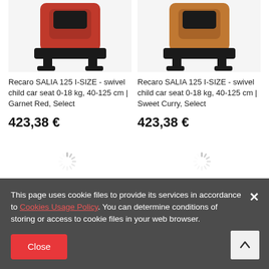[Figure (photo): Red child car seat (Recaro SALIA 125 I-SIZE, Garnet Red) product image, partially cropped at top]
[Figure (photo): Brown/curry child car seat (Recaro SALIA 125 I-SIZE, Sweet Curry) product image, partially cropped at top]
Recaro SALIA 125 I-SIZE - swivel child car seat 0-18 kg, 40-125 cm | Garnet Red, Select
423,38 €
Recaro SALIA 125 I-SIZE - swivel child car seat 0-18 kg, 40-125 cm | Sweet Curry, Select
423,38 €
[Figure (illustration): Loading spinner icon (circular dashed/ray spinner)]
[Figure (illustration): Loading spinner icon (circular dashed/ray spinner)]
This page uses cookie files to provide its services in accordance to Cookies Usage Policy. You can determine conditions of storing or access to cookie files in your web browser.
Close